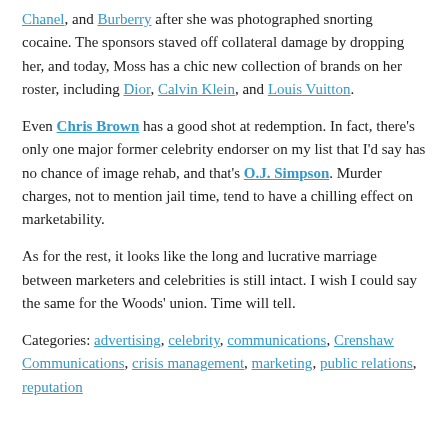Chanel, and Burberry after she was photographed snorting cocaine. The sponsors staved off collateral damage by dropping her, and today, Moss has a chic new collection of brands on her roster, including Dior, Calvin Klein, and Louis Vuitton.
Even Chris Brown has a good shot at redemption. In fact, there's only one major former celebrity endorser on my list that I'd say has no chance of image rehab, and that's O.J. Simpson. Murder charges, not to mention jail time, tend to have a chilling effect on marketability.
As for the rest, it looks like the long and lucrative marriage between marketers and celebrities is still intact. I wish I could say the same for the Woods' union. Time will tell.
Categories: advertising, celebrity, communications, Crenshaw Communications, crisis management, marketing, public relations, reputation